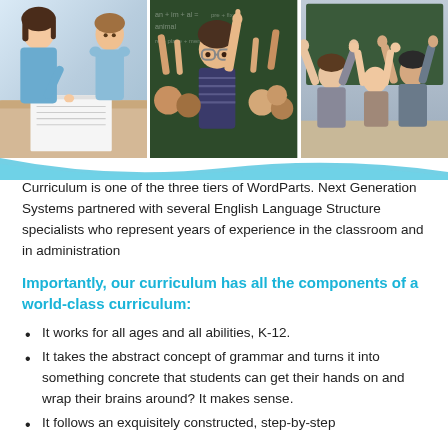[Figure (photo): Three photos side by side: a teacher helping a student at a desk (left), a child with glasses raising hand in front of a chalkboard (center), and students with arms raised in a classroom (right), with a light blue wave ribbon below the photos.]
Curriculum is one of the three tiers of WordParts. Next Generation Systems partnered with several English Language Structure specialists who represent years of experience in the classroom and in administration
Importantly, our curriculum has all the components of a world-class curriculum:
It works for all ages and all abilities, K-12.
It takes the abstract concept of grammar and turns it into something concrete that students can get their hands on and wrap their brains around? It makes sense.
It follows an exquisitely constructed, step-by-step